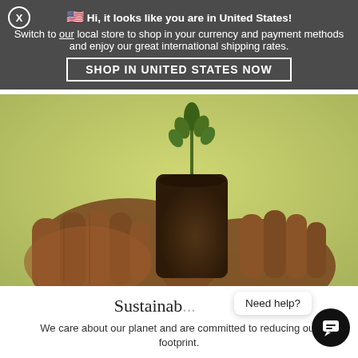[Figure (screenshot): Website geo-redirect banner overlaying a page. Banner says: Hi, it looks like you are in United States! Switch to our local store to shop in your currency and payment methods and enjoy our great international shipping rates. SHOP IN UNITED STATES NOW]
[Figure (photo): Close-up photo of a person's hands holding a small tree seedling in a black plastic pot, surrounded by green grass. Background is blurred yellow-green.]
Sustainab...
We care about our planet and are committed to reducing our footprint.